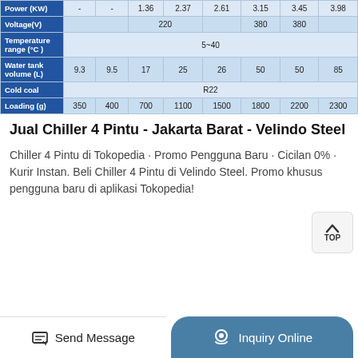|  | col1 | col2 | col3 | col4 | col5 | col6 | col7 | col8 |
| --- | --- | --- | --- | --- | --- | --- | --- | --- |
| Power (KW) | - | - | 1.36 | 2.37 | 2.61 | 3.15 | 3.45 | 3.98 |
| Voltage(V) |  |  | 220 |  |  | 380 | 380 |  |
| Temperature range (°C) |  |  |  | 5~40 |  |  |  |  |
| Water tank volume (L) | 9.3 | 9.5 | 17 | 25 | 26 | 50 | 50 | 85 |
| Cold coal |  |  |  | R22 |  |  |  |  |
| Loading (g) | 350 | 400 | 700 | 1100 | 1500 | 1800 | 2200 | 2300 |
Jual Chiller 4 Pintu - Jakarta Barat - Velindo Steel
Chiller 4 Pintu di Tokopedia · Promo Pengguna Baru · Cicilan 0% · Kurir Instan. Beli Chiller 4 Pintu di Velindo Steel. Promo khusus pengguna baru di aplikasi Tokopedia!